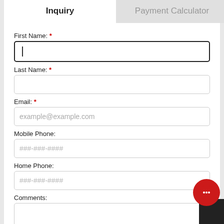Inquiry
Payment Calculator
First Name: *
Last Name: *
Email: *
example@example.com
Mobile Phone:
###-###-####
Home Phone:
###-###-####
Comments:
ACKNOWLEDGMENT AND CONSENT:
I hereby consent to receive text messages or